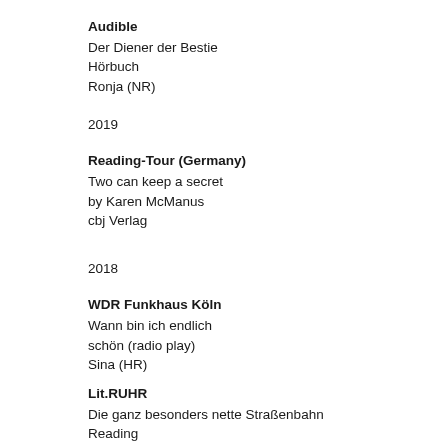Audible
Der Diener der Bestie
Hörbuch
Ronja (NR)
2019
Reading-Tour (Germany)
Two can keep a secret
by Karen McManus
cbj Verlag
2018
WDR Funkhaus Köln
Wann bin ich endlich schön (radio play)
Sina (HR)
Lit.RUHR
Die ganz besonders nette Straßenbahn
Reading